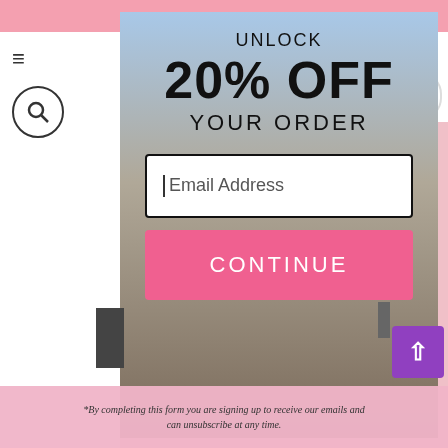[Figure (screenshot): E-commerce website popup modal showing a promotional offer. Background shows a woman in athletic wear. Left nav has hamburger menu and search icon. Top right shows cart icon with badge '0'. Center modal panel shows 'UNLOCK 20% OFF YOUR ORDER' with email input field and pink CONTINUE button. Bottom has footnote text about signing up for emails.]
UNLOCK 20% OFF YOUR ORDER
Email Address
CONTINUE
*By completing this form you are signing up to receive our emails and can unsubscribe at any time.